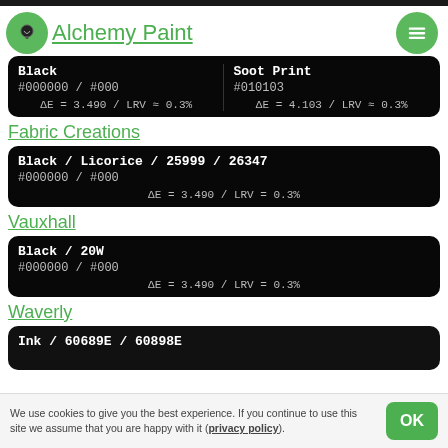Alchemy Paint
| Color | Color2 |
| --- | --- |
| Black
#000000 / #000
ΔE = 3.490 / LRV ≈ 0.3% | Soot Print
#010103
ΔE = 4.103 / LRV ≈ 0.3% |
Fabric Creations
| Color |
| --- |
| Black / Licorice / 25999 / 26347
#000000 / #000
ΔE = 3.490 / LRV ≈ 0.3% |
Vauxhall
| Color |
| --- |
| Black / 20W
#000000 / #000
ΔE = 3.490 / LRV ≈ 0.3% |
Waverly
| Color |
| --- |
| Ink / 60689E / 60898E |
We use cookies to give you the best experience. If you continue to use this site we assume that you are happy with it (privacy policy).